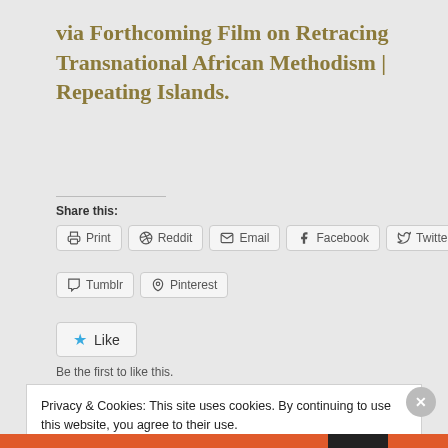via Forthcoming Film on Retracing Transnational African Methodism | Repeating Islands.
Share this:
Print  Reddit  Email  Facebook  Twitter  Tumblr  Pinterest
Like
Be the first to like this.
Privacy & Cookies: This site uses cookies. By continuing to use this website, you agree to their use.
To find out more, including how to control cookies, see here: Cookie Policy
Close and accept